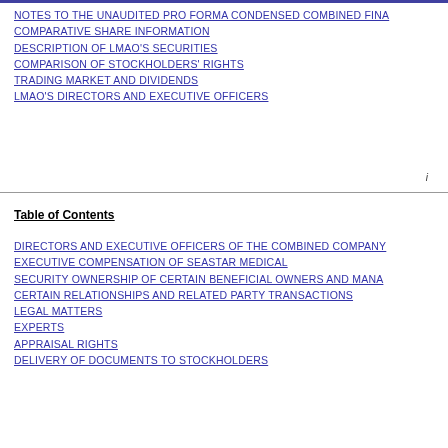NOTES TO THE UNAUDITED PRO FORMA CONDENSED COMBINED FINA...
COMPARATIVE SHARE INFORMATION
DESCRIPTION OF LMAO'S SECURITIES
COMPARISON OF STOCKHOLDERS' RIGHTS
TRADING MARKET AND DIVIDENDS
LMAO'S DIRECTORS AND EXECUTIVE OFFICERS
i
Table of Contents
DIRECTORS AND EXECUTIVE OFFICERS OF THE COMBINED COMPANY
EXECUTIVE COMPENSATION OF SEASTAR MEDICAL
SECURITY OWNERSHIP OF CERTAIN BENEFICIAL OWNERS AND MANA...
CERTAIN RELATIONSHIPS AND RELATED PARTY TRANSACTIONS
LEGAL MATTERS
EXPERTS
APPRAISAL RIGHTS
DELIVERY OF DOCUMENTS TO STOCKHOLDERS